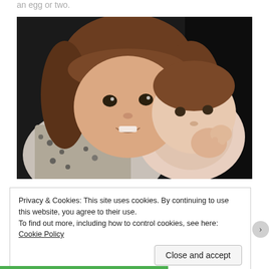an egg or two.
[Figure (photo): Photo of a young girl smiling and holding a baby, both looking toward the camera, indoor setting with dark background.]
Privacy & Cookies: This site uses cookies. By continuing to use this website, you agree to their use.
To find out more, including how to control cookies, see here: Cookie Policy
Close and accept